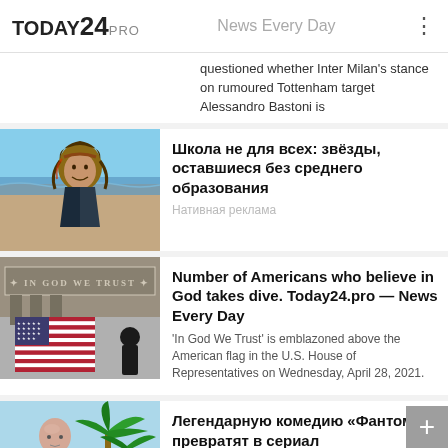TODAY24 PRO — News Every Day
questioned whether Inter Milan's stance on rumoured Tottenham target Alessandro Bastoni is
Школа не для всех: звёзды, оставшиеся без среднего образования
Нативная реклама
[Figure (photo): Man dressed as Jack Sparrow pirate character on a beach]
Number of Americans who believe in God takes dive. Today24.pro — News Every Day
'In God We Trust' is emblazoned above the American flag in the U.S. House of Representatives on Wednesday, April 28, 2021.
[Figure (photo): Stone inscription 'IN GOD WE TRUST' above an American flag in the U.S. House of Representatives]
Легендарную комедию «Фантомас» превратят в сериал
Нативная реклама
[Figure (photo): Bald man in black suit with palm trees in background]